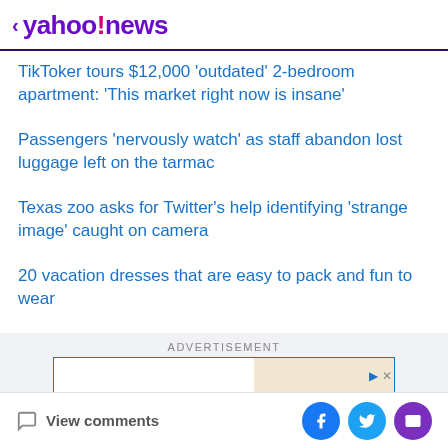< yahoo!news
TikToker tours $12,000 'outdated' 2-bedroom apartment: 'This market right now is insane'
Passengers 'nervously watch' as staff abandon lost luggage left on the tarmac
Texas zoo asks for Twitter's help identifying 'strange image' caught on camera
20 vacation dresses that are easy to pack and fun to wear
ADVERTISEMENT
View comments